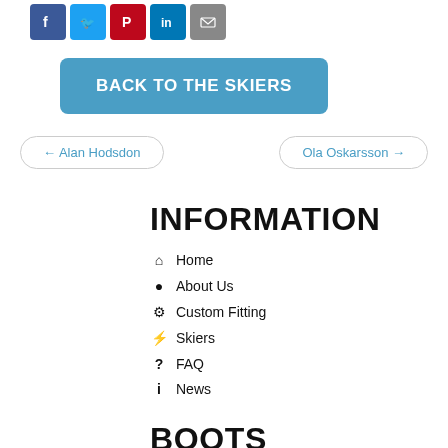[Figure (other): Social media share icons: Facebook, Twitter, Pinterest, LinkedIn, Email]
BACK TO THE SKIERS
← Alan Hodsdon
Ola Oskarsson →
INFORMATION
Home
About Us
Custom Fitting
Skiers
FAQ
News
BOOTS
Boots
Features & Benefits
360° View